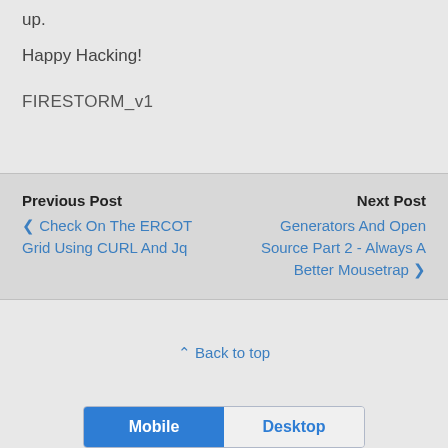up.
Happy Hacking!
FIRESTORM_v1
Previous Post
❮ Check On The ERCOT Grid Using CURL And Jq
Next Post
Generators And Open Source Part 2 - Always A Better Mousetrap ❯
⌃ Back to top
Mobile  Desktop